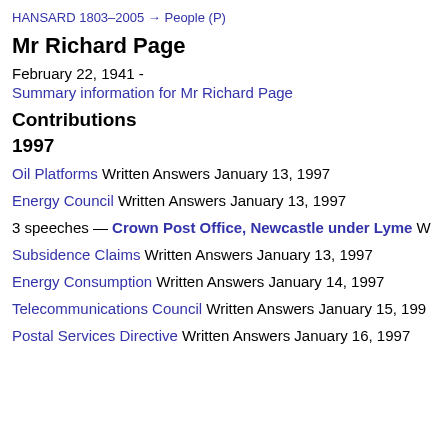HANSARD 1803–2005 → People (P)
Mr Richard Page
February 22, 1941 -
Summary information for Mr Richard Page
Contributions
1997
Oil Platforms Written Answers January 13, 1997
Energy Council Written Answers January 13, 1997
3 speeches — Crown Post Office, Newcastle under Lyme W
Subsidence Claims Written Answers January 13, 1997
Energy Consumption Written Answers January 14, 1997
Telecommunications Council Written Answers January 15, 1997
Postal Services Directive Written Answers January 16, 1997